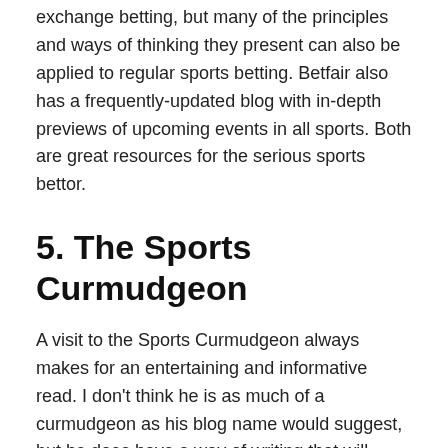exchange betting, but many of the principles and ways of thinking they present can also be applied to regular sports betting. Betfair also has a frequently-updated blog with in-depth previews of upcoming events in all sports. Both are great resources for the serious sports bettor.
5. The Sports Curmudgeon
A visit to the Sports Curmudgeon always makes for an entertaining and informative read. I don't think he is as much of a curmudgeon as his blog name would suggest, but he does have a way of writing that will have you at least crack a smile once or twice per blog post.